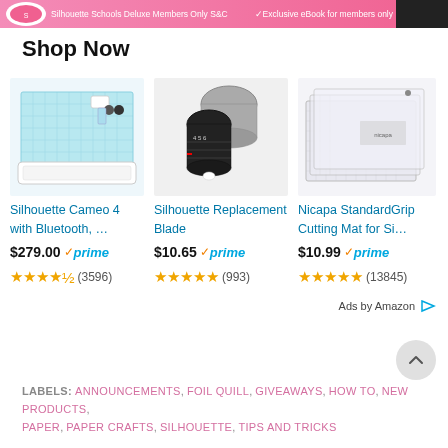[Figure (screenshot): Pink promotional banner with logo, text about Silhouette School Deluxe Members Only and exclusive eBook for members only, with dark right section]
Shop Now
[Figure (photo): Silhouette Cameo 4 with Bluetooth product photo - cutting machine with mat and accessories]
Silhouette Cameo 4 with Bluetooth, …
$279.00 ✓prime
★★★★½ (3596)
[Figure (photo): Silhouette Replacement Blade product photo - black tool with gray cap]
Silhouette Replacement Blade
$10.65 ✓prime
★★★★★ (993)
[Figure (photo): Nicapa StandardGrip Cutting Mat for Silhouette - stack of cutting mats]
Nicapa StandardGrip Cutting Mat for Si…
$10.99 ✓prime
★★★★★ (13845)
Ads by Amazon
LABELS: ANNOUNCEMENTS, FOIL QUILL, GIVEAWAYS, HOW TO, NEW PRODUCTS, PAPER, PAPER CRAFTS, SILHOUETTE, TIPS AND TRICKS